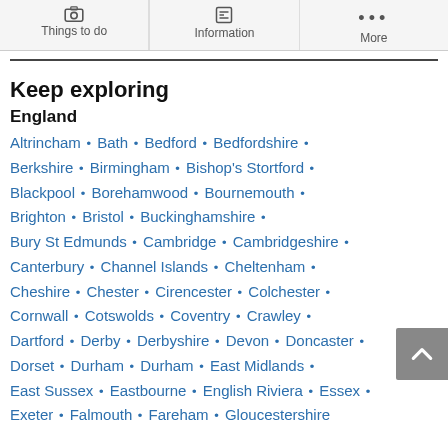Things to do | Information | More
Keep exploring
England
Altrincham • Bath • Bedford • Bedfordshire • Berkshire • Birmingham • Bishop's Stortford • Blackpool • Borehamwood • Bournemouth • Brighton • Bristol • Buckinghamshire • Bury St Edmunds • Cambridge • Cambridgeshire • Canterbury • Channel Islands • Cheltenham • Cheshire • Chester • Cirencester • Colchester • Cornwall • Cotswolds • Coventry • Crawley • Dartford • Derby • Derbyshire • Devon • Doncaster • Dorset • Durham • Durham • East Midlands • East Sussex • Eastbourne • English Riviera • Essex • Exeter • Falmouth • Fareham • Gloucestershire